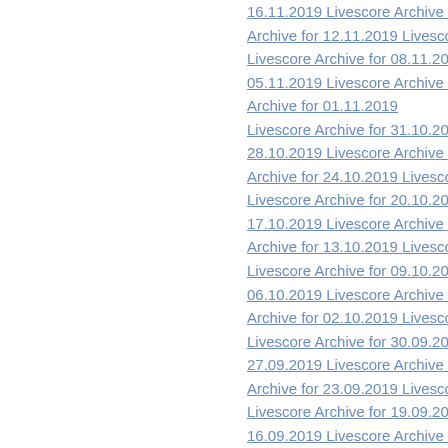16.11.2019   Livescore Archive for 15.11.201
Archive for 12.11.2019   Livescore Archive fo
Livescore Archive for 08.11.2019   Livescore
05.11.2019   Livescore Archive for 04.11.201
Archive for 01.11.2019
Livescore Archive for 31.10.2019   Livescore
28.10.2019   Livescore Archive for 27.10.201
Archive for 24.10.2019   Livescore Archive fo
Livescore Archive for 20.10.2019   Livescore
17.10.2019   Livescore Archive for 16.10.201
Archive for 13.10.2019   Livescore Archive fo
Livescore Archive for 09.10.2019   Livescore
06.10.2019   Livescore Archive for 05.10.201
Archive for 02.10.2019   Livescore Archive for
Livescore Archive for 30.09.2019   Livescore
27.09.2019   Livescore Archive for 26.09.201
Archive for 23.09.2019   Livescore Archive fo
Livescore Archive for 19.09.2019   Livescore
16.09.2019   Livescore Archive for 15.09.201
Archive for 12.09.2019   Livescore Archive fo
Livescore Archive for 08.09.2019   Livescore
05.09.2019   Livescore Archive for 04.09.201
Archive for 01.09.2019
Livescore Archive for 31.08.2019   Livescore
28.08.2019   Livescore Archive for 27.08.201
Archive for 24.08.2019   Livescore Archive fo